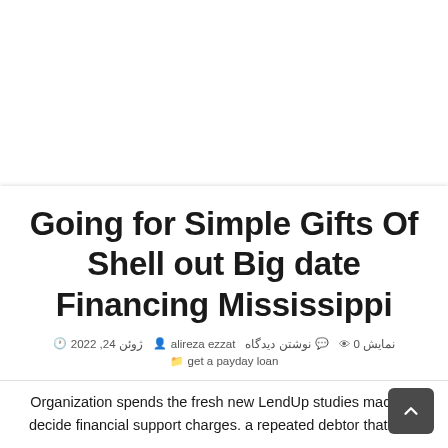Going for Simple Gifts Of Shell out Big date Financing Mississippi
get a payday loan  📁  ژوئن 24, 2022  🕐  alireza ezzat  👤  نوشتن دیدگاه  💬  0 نمایش  👁
Organization spends the fresh new LendUp studies machine decide financial support charges. a repeated debtor that may